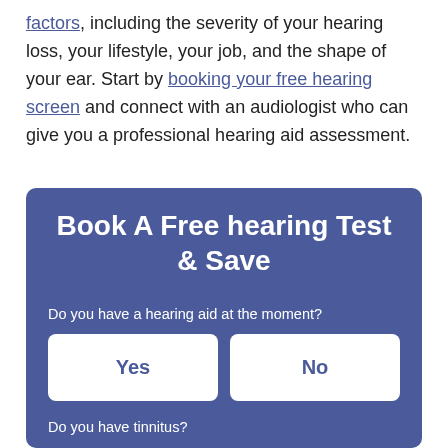factors, including the severity of your hearing loss, your lifestyle, your job, and the shape of your ear. Start by booking your free hearing screen and connect with an audiologist who can give you a professional hearing aid assessment.
Book A Free hearing Test & Save
Do you have a hearing aid at the moment?
Yes
No
Do you have tinnitus?